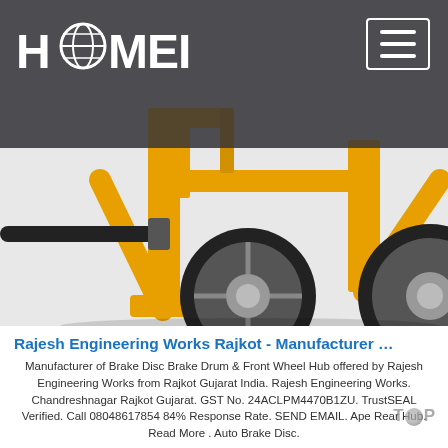[Figure (photo): Yellow construction/concrete mixer machine frame with large black rubber tires on white background, viewed from lower angle showing the metal frame supports and a black handle/bar extending to the left.]
HAOMEI
Rajesh Engineering Works Rajkot - Manufacturer …
Manufacturer of Brake Disc Brake Drum & Front Wheel Hub offered by Rajesh Engineering Works from Rajkot Gujarat India. Rajesh Engineering Works. Chandreshnagar Rajkot Gujarat. GST No. 24ACLPM4470B1ZU. TrustSEAL Verified. Call 08048617854 84% Response Rate. SEND EMAIL. Ape Rear Hub. Read More . Auto Brake Disc.